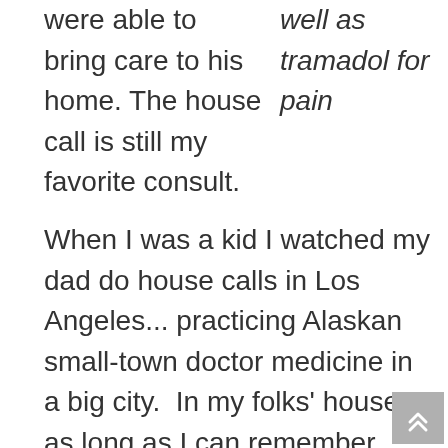were able to bring care to his home. The house call is still my favorite consult.
well as tramadol for pain
When I was a kid I watched my dad do house calls in Los Angeles... practicing Alaskan small-town doctor medicine in a big city.  In my folks' house, as long as I can remember, there is an old print of a painting of a doctor, circa 1830ish, on horseback with a lantern and black medical bag